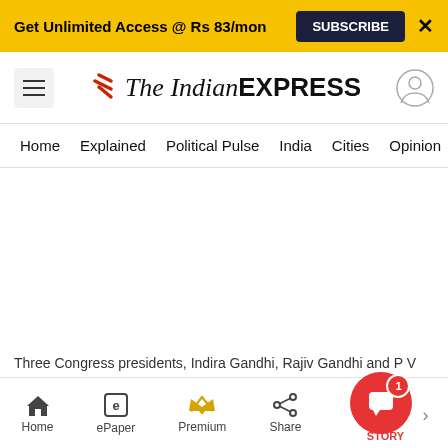Get Unlimited Access @ Rs 83/mon
SUBSCRIBE
The Indian EXPRESS
Home   Explained   Political Pulse   India   Cities   Opinion   Entertainment
[Figure (photo): White/blank image area representing a news article photo]
Three Congress presidents, Indira Gandhi, Rajiv Gandhi and P V Narasimha Rao (Archive)
Home   ePaper   Premium   Share   STORY